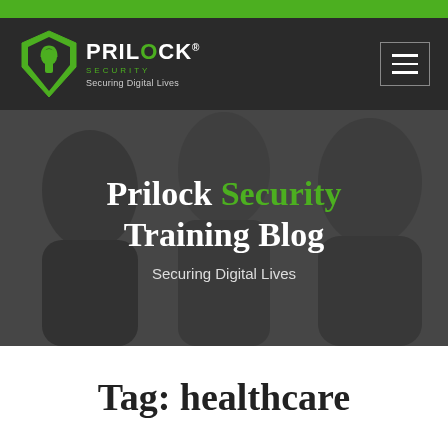[Figure (logo): Prilock Security logo with shield icon and tagline 'Securing Digital Lives' on dark navigation bar]
[Figure (photo): Hero banner showing three people looking at something, with overlay text 'Prilock Security Training Blog' and subtitle 'Securing Digital Lives']
Tag: healthcare